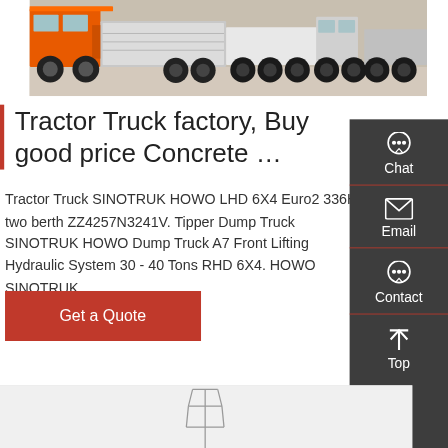[Figure (photo): Photograph of heavy trucks (tractor/dump trucks) parked in a yard, orange and white trucks visible, showing chassis and wheels from the side]
Tractor Truck factory, Buy good price Concrete …
Tractor Truck SINOTRUK HOWO LHD 6X4 Euro2 336HP two berth ZZ4257N3241V. Tipper Dump Truck SINOTRUK HOWO Dump Truck A7 Front Lifting Hydraulic System 30 - 40 Tons RHD 6X4. HOWO SINOTRUK …
Get a Quote
[Figure (photo): Partial photo of a product or equipment with white/light background, appears to show some kind of scaffolding or structural equipment]